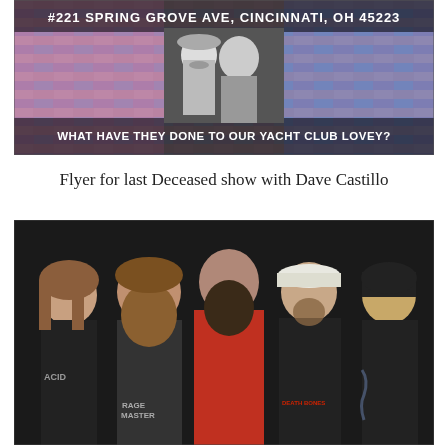[Figure (photo): Flyer image with colorful brick-like textured background, black and white photo of a man and woman in the center, text reading '#221 Spring Grove Ave, Cincinnati, OH 45223' at top and 'WHAT HAVE THEY DONE TO OUR YACHT CLUB LOVEY?' at bottom]
Flyer for last Deceased show with Dave Castillo
[Figure (photo): Band photo showing five people posing together against a dark background, wearing various band t-shirts]